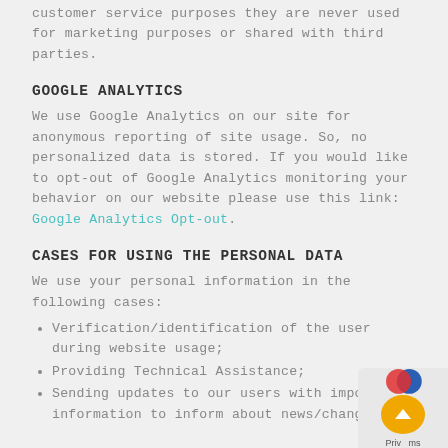customer service purposes they are never used for marketing purposes or shared with third parties.
GOOGLE ANALYTICS
We use Google Analytics on our site for anonymous reporting of site usage. So, no personalized data is stored. If you would like to opt-out of Google Analytics monitoring your behavior on our website please use this link: Google Analytics Opt-out.
CASES FOR USING THE PERSONAL DATA
We use your personal information in the following cases:
Verification/identification of the user during website usage;
Providing Technical Assistance;
Sending updates to our users with important information to inform about news/changes;